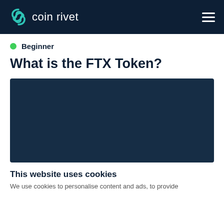coin rivet
Beginner
What is the FTX Token?
[Figure (photo): Dark navy blue image placeholder for FTX Token article]
This website uses cookies
We use cookies to personalise content and ads, to provide